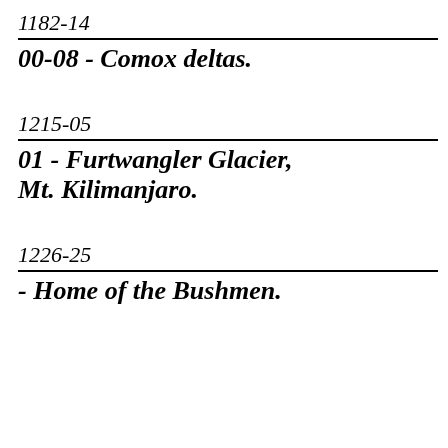1182-14
00-08 - Comox deltas.
1215-05
01 - Furtwangler Glacier, Mt. Kilimanjaro.
1226-25
- Home of the Bushmen.